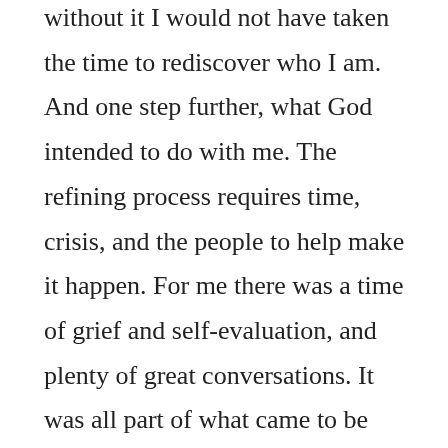without it I would not have taken the time to rediscover who I am. And one step further, what God intended to do with me. The refining process requires time, crisis, and the people to help make it happen. For me there was a time of grief and self-evaluation, and plenty of great conversations. It was all part of what came to be Lead Freely.

So as I look back on the past 3 years, and how they resulted in a clearer perspective, intentional work on self, and an openness to grow, I realize I am in a great spot. It has led me back to a place where I can help people find their 'great spot'. Being in a great spot does not mean everything is smooth and